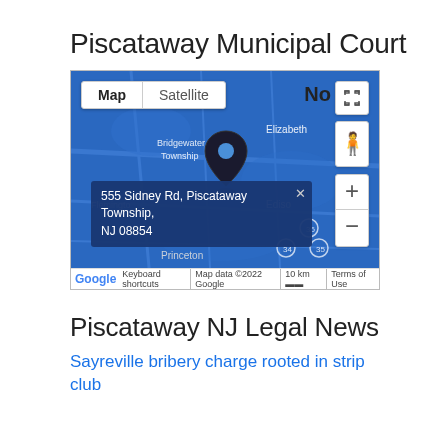Piscataway Municipal Court
[Figure (map): Google Map screenshot showing the location of 555 Sidney Rd, Piscataway Township, NJ 08854, with a pin marker. Map shows Bridgewater Township, Elizabeth, Flemington, Princeton, Edison areas. Includes Map/Satellite toggle, zoom controls, person icon, and fullscreen button. Google copyright footer reads: Keyboard shortcuts | Map data ©2022 Google | 10 km | Terms of Use]
Piscataway NJ Legal News
Sayreville bribery charge rooted in strip club